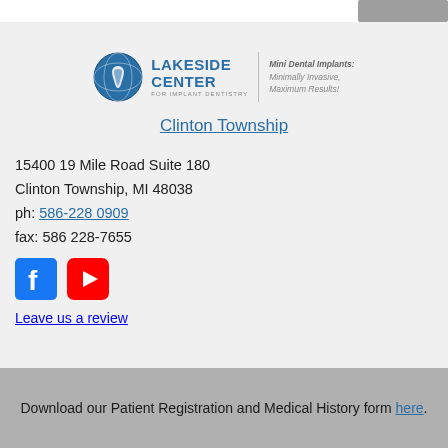[Figure (logo): Lakeside Center for Implant Dentistry logo with globe/tooth icon and tagline: Mini Dental Implants: Minimally Invasive, Maximum Results!]
Clinton Township
15400 19 Mile Road Suite 180
Clinton Township, MI 48038
ph: 586-228 0909
fax: 586 228-7655
[Figure (illustration): Facebook icon (blue square with f) and YouTube icon (red rounded rectangle with play button)]
Leave us a review
Download our Patient Registration and Medical History form here.